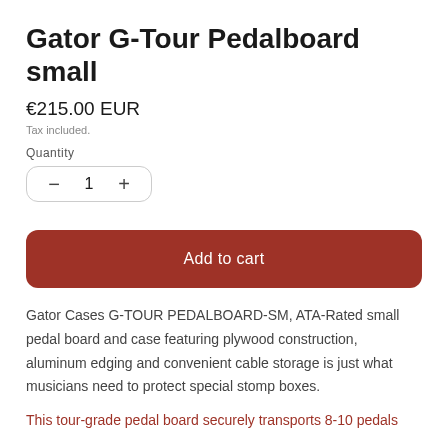Gator G-Tour Pedalboard small
€215.00 EUR
Tax included.
Quantity
− 1 +
Add to cart
Gator Cases G-TOUR PEDALBOARD-SM, ATA-Rated small pedal board and case featuring plywood construction, aluminum edging and convenient cable storage is just what musicians need to protect special stomp boxes.
This tour-grade pedal board securely transports 8-10 pedals